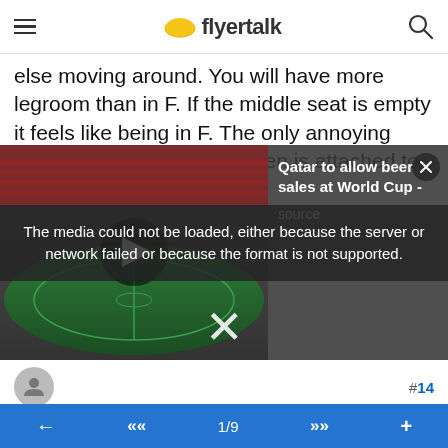flyertalk
else moving around. You will have more legroom than in F. If the middle seat is empty it feels like being in F. The only annoying thing is that the AVOD screen is attached to the
[Figure (screenshot): Video player showing a stadium with an error message overlay: 'The media could not be loaded, either because the server or network failed or because the format is not supported.' Also shows a news overlay: 'Qatar to allow beer sales at World Cup - source' with a close X button.]
BAMuc , Jun 9, 17 6:42 am
#14
Quote:
Originally Posted by newyorkgeorge
Row11A you will have total access to get up without anyone else moving around. You will have more legroom than in F. If the middle seat is empty it feels like being in F. The only annoying thing is that the AVOD screen is
1/9